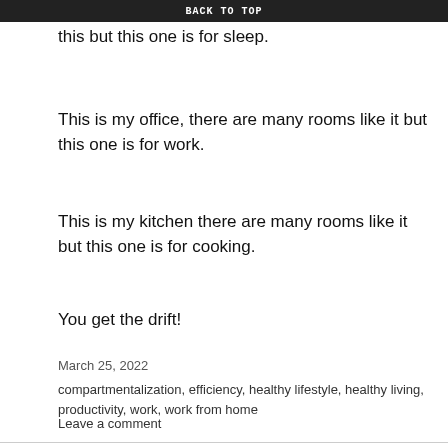BACK TO TOP
This is my bedroom there are many rooms like this but this one is for sleep.
This is my office, there are many rooms like it but this one is for work.
This is my kitchen there are many rooms like it but this one is for cooking.
You get the drift!
March 25, 2022
compartmentalization, efficiency, healthy lifestyle, healthy living, productivity, work, work from home
Leave a comment
HEALTH, WEIGHT LOSS
Health and